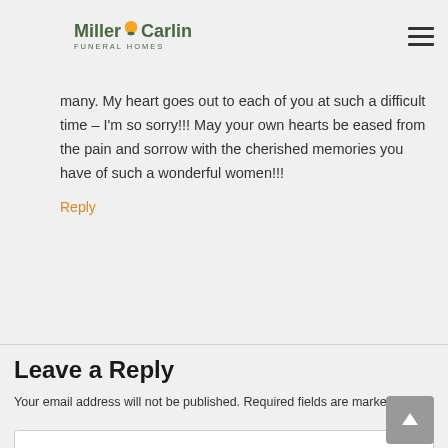Miller Carlin Funeral Homes
many. My heart goes out to each of you at such a difficult time – I'm so sorry!!! May your own hearts be eased from the pain and sorrow with the cherished memories you have of such a wonderful women!!!
Reply
Leave a Reply
Your email address will not be published. Required fields are marked *
Comment *